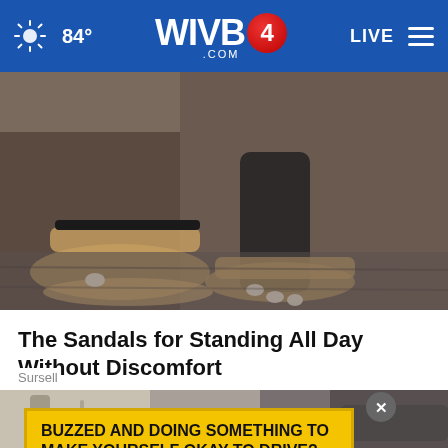84° WIVB4 .COM LIVE
[Figure (photo): Close-up photo of feet wearing black flip-flop sandals with orthopedic soles, standing on stone ground]
The Sandals for Standing All Day Without Discomfort
Sursell
[Figure (photo): Photo of people walking outdoors, partially visible, with an advertisement overlay]
BUZZED AND DOING SOMETHING TO MAKE YOURSELF OKAY TO DRIVE?